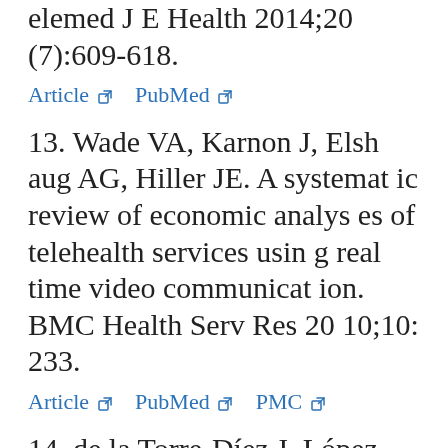elemed J E Health 2014;20(7):609-618.
Article  PubMed
13. Wade VA, Karnon J, Elshaug AG, Hiller JE. A systematic review of economic analyses of telehealth services using real time video communication. BMC Health Serv Res 2010;10: 233.
Article  PubMed  PMC
14. de la Torre-Díez J, López-...